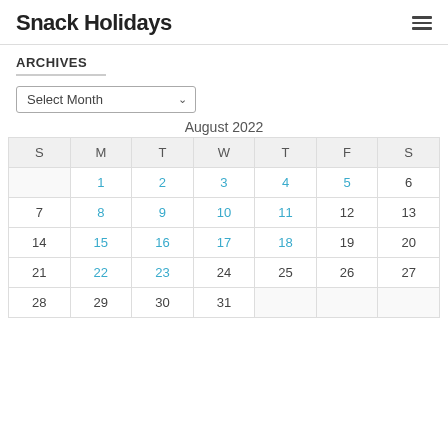Snack Holidays
ARCHIVES
Select Month
| S | M | T | W | T | F | S |
| --- | --- | --- | --- | --- | --- | --- |
|  | 1 | 2 | 3 | 4 | 5 | 6 |
| 7 | 8 | 9 | 10 | 11 | 12 | 13 |
| 14 | 15 | 16 | 17 | 18 | 19 | 20 |
| 21 | 22 | 23 | 24 | 25 | 26 | 27 |
| 28 | 29 | 30 | 31 |  |  |  |